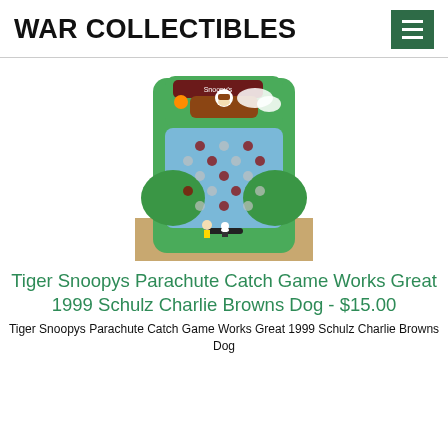WAR COLLECTIBLES
[Figure (photo): Tiger Snoopys Parachute Catch Game — a green handheld toy/game with Snoopy flying a plane at the top, blue playing field with gem-like holes, and small Charlie Brown and Snoopy figurines at the bottom.]
Tiger Snoopys Parachute Catch Game Works Great 1999 Schulz Charlie Browns Dog - $15.00
Tiger Snoopys Parachute Catch Game Works Great 1999 Schulz Charlie Browns Dog